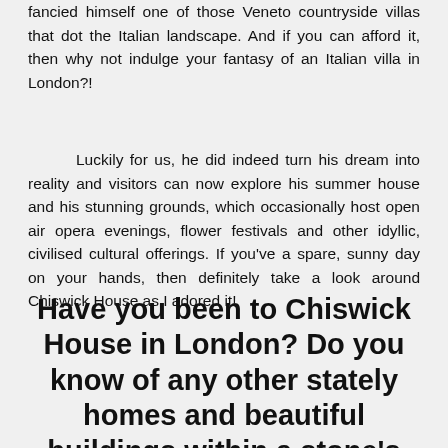fancied himself one of those Veneto countryside villas that dot the Italian landscape. And if you can afford it, then why not indulge your fantasy of an Italian villa in London?!
Luckily for us, he did indeed turn his dream into reality and visitors can now explore his summer house and his stunning grounds, which occasionally host open air opera evenings, flower festivals and other idyllic, civilised cultural offerings. If you've a spare, sunny day on your hands, then definitely take a look around Chiswick House as I adored it!
Have you been to Chiswick House in London? Do you know of any other stately homes and beautiful buildings within a stone's throw of the Big Smoke?